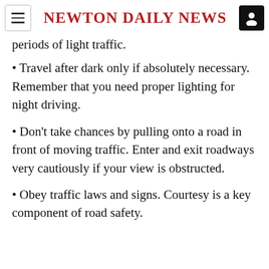Newton Daily News
periods of light traffic.
Travel after dark only if absolutely necessary. Remember that you need proper lighting for night driving.
Don't take chances by pulling onto a road in front of moving traffic. Enter and exit roadways very cautiously if your view is obstructed.
Obey traffic laws and signs. Courtesy is a key component of road safety.